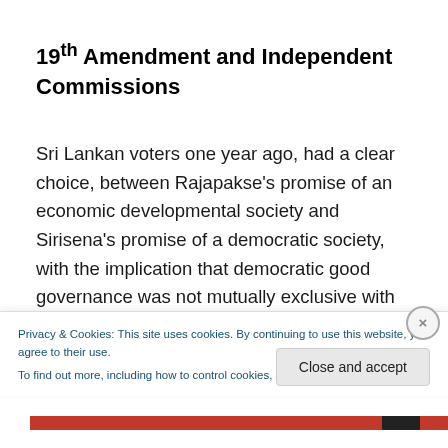19th Amendment and Independent Commissions
Sri Lankan voters one year ago, had a clear choice, between Rajapakse’s promise of an economic developmental society and Sirisena’s promise of a democratic society, with the implication that democratic good governance was not mutually exclusive with
Privacy & Cookies: This site uses cookies. By continuing to use this website, you agree to their use.
To find out more, including how to control cookies, see here: Cookie Policy
Close and accept